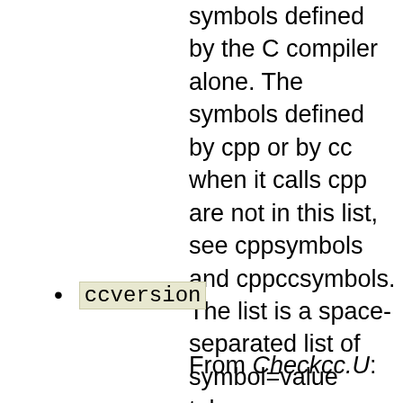symbols defined by the C compiler alone. The symbols defined by cpp or by cc when it calls cpp are not in this list, see cppsymbols and cppccsymbols. The list is a space-separated list of symbol=value tokens.
ccversion
From Checkcc.U:
This can set